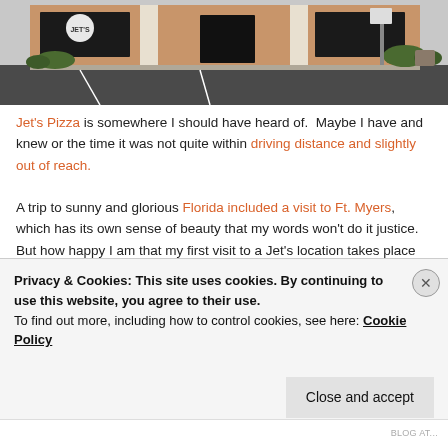[Figure (photo): Exterior facade of a Jet's Pizza restaurant building — tan/orange brick building with large dark windows, green shrubs, parking lot in foreground, sign visible above entrance]
Jet's Pizza is somewhere I should have heard of.  Maybe I have and knew or the time it was not quite within driving distance and slightly out of reach.
A trip to sunny and glorious Florida included a visit to Ft. Myers, which has its own sense of beauty that my words won't do it justice.  But how happy I am that my first visit to a Jet's location takes place here.
Privacy & Cookies: This site uses cookies. By continuing to use this website, you agree to their use.
To find out more, including how to control cookies, see here: Cookie Policy
Close and accept